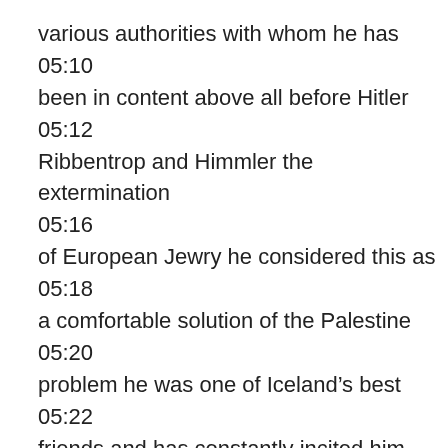various authorities with whom he has
05:10
been in content above all before Hitler
05:12
Ribbentrop and Himmler the extermination
05:16
of European Jewry he considered this as
05:18
a comfortable solution of the Palestine
05:20
problem he was one of Iceland's best
05:22
friends and has constantly incited him
05:25
to accelerate the extermination measure
05:27